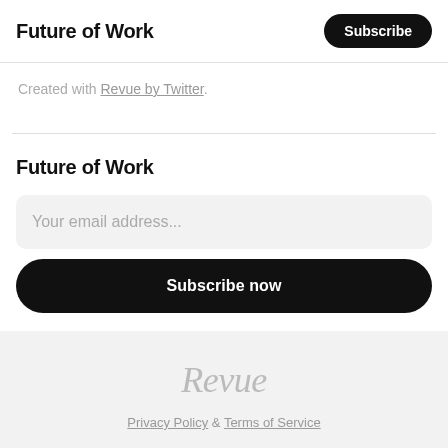Future of Work
Created with Revue by Twitter.
Future of Work
Your email address...
Subscribe now
[Figure (logo): Revue logo in italic script]
Privacy Policy & Terms of Service